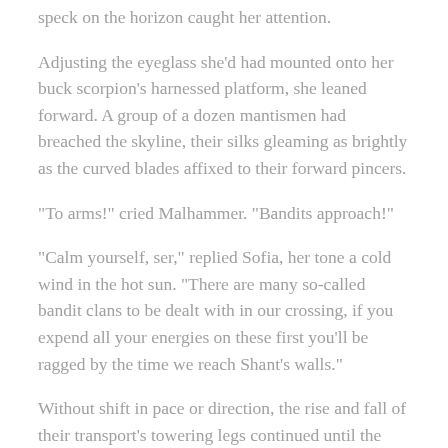speck on the horizon caught her attention.
Adjusting the eyeglass she'd had mounted onto her buck scorpion's harnessed platform, she leaned forward. A group of a dozen mantismen had breached the skyline, their silks gleaming as brightly as the curved blades affixed to their forward pincers.
“To arms!” cried Malhammer. “Bandits approach!”
“Calm yourself, ser,” replied Sofia, her tone a cold wind in the hot sun. “There are many so-called bandit clans to be dealt with in our crossing, if you expend all your energies on these first you’ll be ragged by the time we reach Shant’s walls.”
Without shift in pace or direction, the rise and fall of their transport’s towering legs continued until the newcomers were within shouting range.
Though engulfed in the shadow of the lead beast alone, the group set itself in the column’s path and brandished